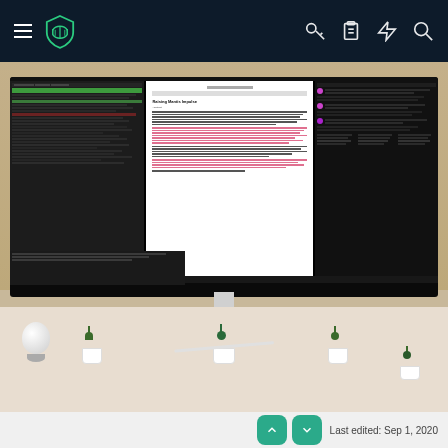[Figure (screenshot): Application navigation bar with hamburger menu icon, green shield/mask logo on dark navy background, and icons for key, clipboard, lightning bolt, and search on the right side]
[Figure (photo): Ultrawide curved monitor on a white desk displaying three screens: left shows a dark IDE/code editor with green highlights, center shows a white document editor with text, right shows a dark panel with purple orbs and data rows. Below the monitor are small potted succulents and a white Google Home Mini speaker.]
Last edited: Sep 1, 2020